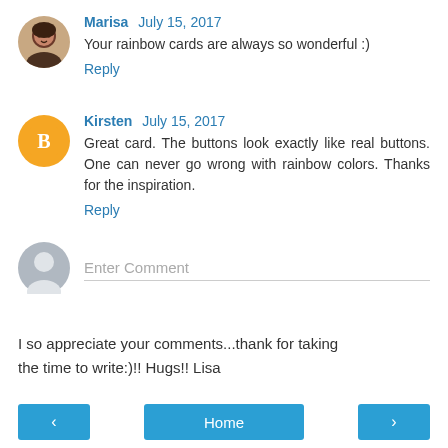Marisa July 15, 2017
Your rainbow cards are always so wonderful :)
Reply
Kirsten July 15, 2017
Great card. The buttons look exactly like real buttons. One can never go wrong with rainbow colors. Thanks for the inspiration.
Reply
Enter Comment
I so appreciate your comments...thank for taking the time to write:)!! Hugs!! Lisa